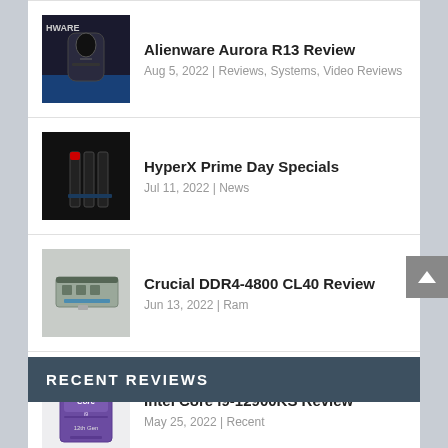Alienware Aurora R13 Review
Aug 5, 2022 | Reviews, Systems, Video Reviews
HyperX Prime Day Specials
Jul 11, 2022 | News
Crucial DDR4-4800 CL40 Review
Jun 13, 2022 | Ram
Intel Core i9-12900KS Review
May 25, 2022 | Recent
RECENT REVIEWS